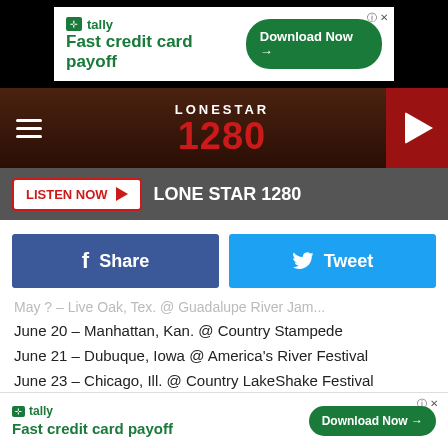[Figure (screenshot): Top advertisement banner for Tally Fast credit card payoff with Download Now button]
[Figure (logo): Lone Star 1280 radio station logo with navigation bar and play button]
LISTEN NOW ▶  LONE STAR 1280
[Figure (infographic): Facebook Share and Twitter Tweet social share buttons]
May ? – Live Oak, Tex. @ Guadalupe River Jam...
June 20 – Manhattan, Kan. @ Country Stampede
June 21 – Dubuque, Iowa @ America's River Festival
June 23 – Chicago, Ill. @ Country LakeShake Festival
July 20 – Cheyenne, Wy. @ Cheyenne Frontier Days
July 24 – Helena, Mont. @ Lewis & Clark County Fairgrounds
Aug. 23 – Mitchell, S.D. @ Corn Palace Festival
Sept. 7 – Eldon, Mo. @ Shawnee Bluff Vineyard
Sept. 2...
[Figure (screenshot): Bottom advertisement banner for Tally Fast credit card payoff with Download Now button]